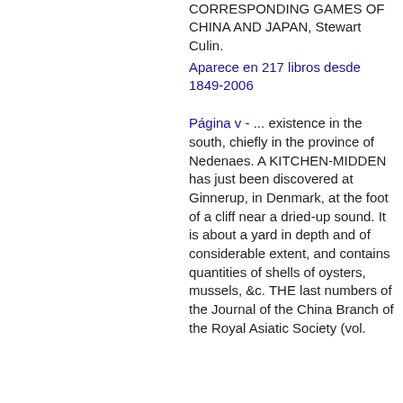CORRESPONDING GAMES OF CHINA AND JAPAN, Stewart Culin.
Aparece en 217 libros desde 1849-2006
Página v - ... existence in the south, chiefly in the province of Nedenaes. A KITCHEN-MIDDEN has just been discovered at Ginnerup, in Denmark, at the foot of a cliff near a dried-up sound. It is about a yard in depth and of considerable extent, and contains quantities of shells of oysters, mussels, &c. THE last numbers of the Journal of the China Branch of the Royal Asiatic Society (vol.